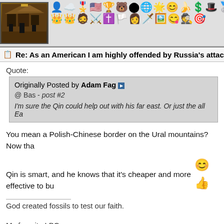[Figure (other): Banner with two rows of emoji/badge icons and a pixel-art building image on the left]
Re: As an American I am highly offended by Russia's attack on Ukraine! -
Quote:
Originally Posted by Adam Fag
@ Bas - post #2

I'm sure the Qin could help out with his far east. Or just the all Ea
You mean a Polish-Chinese border on the Ural mountains? Now tha
Qin is smart, and he knows that it's cheaper and more effective to bu
God created fossils to test our faith.
My favorite LBC sermons:
True Christians are Perfect!
True Christian™ Love.